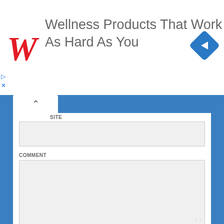[Figure (screenshot): Walgreens advertisement banner: 'Wellness Products That Work As Hard As You' with red Walgreens W logo and blue diamond navigation icon]
SITE
COMMENT
Save my name, email, and website in this browser for the next time I comment.
POST COMMENT